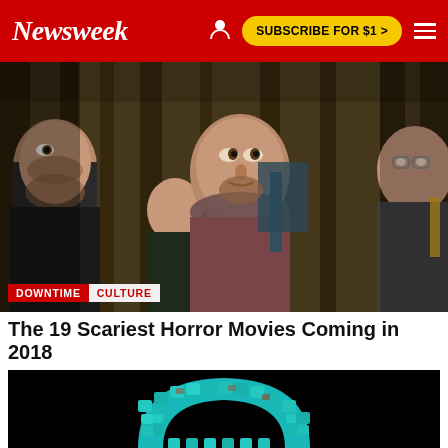Newsweek — SUBSCRIBE FOR $1 >
[Figure (photo): Four men with hiking backpacks looking upward in a forest setting, from a horror movie]
DOWNTIME   CULTURE
The 19 Scariest Horror Movies Coming in 2018
[Figure (photo): A turquoise mosaic skull or mask artifact photographed against a black background]